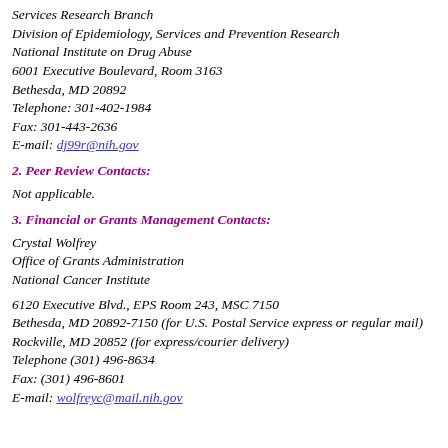Services Research Branch
Division of Epidemiology, Services and Prevention Research
National Institute on Drug Abuse
6001 Executive Boulevard, Room 3163
Bethesda, MD 20892
Telephone: 301-402-1984
Fax: 301-443-2636
E-mail: dj99r@nih.gov
2. Peer Review Contacts:
Not applicable.
3. Financial or Grants Management Contacts:
Crystal Wolfrey
Office of Grants Administration
National Cancer Institute
6120 Executive Blvd., EPS Room 243, MSC 7150
Bethesda, MD 20892-7150 (for U.S. Postal Service express or regular mail)
Rockville, MD 20852 (for express/courier delivery)
Telephone (301) 496-8634
Fax: (301) 496-8601
E-mail: wolfreyc@mail.nih.gov